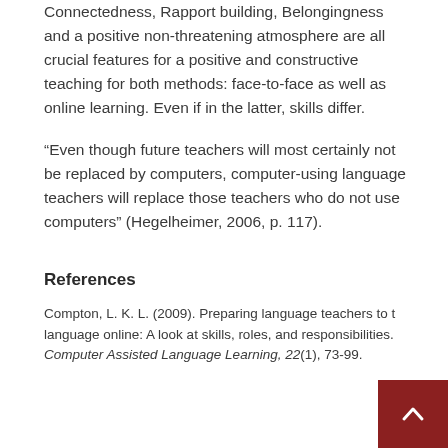Connectedness, Rapport building, Belongingness and a positive non-threatening atmosphere are all crucial features for a positive and constructive teaching for both methods: face-to-face as well as online learning. Even if in the latter, skills differ.
“Even though future teachers will most certainly not be replaced by computers, computer-using language teachers will replace those teachers who do not use computers” (Hegelheimer, 2006, p. 117).
References
Compton, L. K. L. (2009). Preparing language teachers to teach language online: A look at skills, roles, and responsibilities. Computer Assisted Language Learning, 22(1), 73-99.